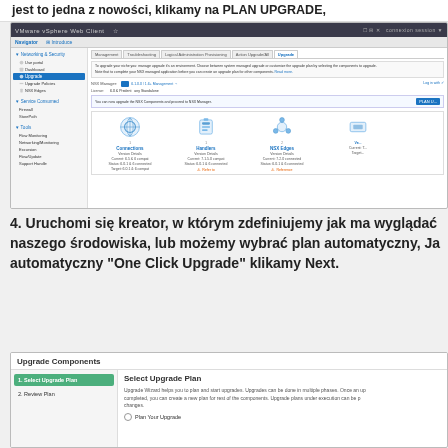jest to jedna z nowości, klikamy na PLAN UPGRADE,
[Figure (screenshot): VMware vSphere Web Client screenshot showing upgrade planning interface with sidebar navigation, tabs (Management, Configuration, Update/Administration, Action, Upgrade), info boxes, and component upgrade section showing icons for components with version details.]
4. Uruchomi się kreator, w którym zdefiniujemy jak ma wyglądać naszego środowiska, lub możemy wybrać plan automatyczny, Ja automatyczny "One Click Upgrade" klikamy Next.
[Figure (screenshot): Upgrade Components wizard screenshot showing: left sidebar with '1. Select Upgrade Plan' (active, green) and '2. Review Plan', main area titled 'Select Upgrade Plan' with description text about Upgrade Wizard and a 'Plan Your Upgrade' radio button option.]